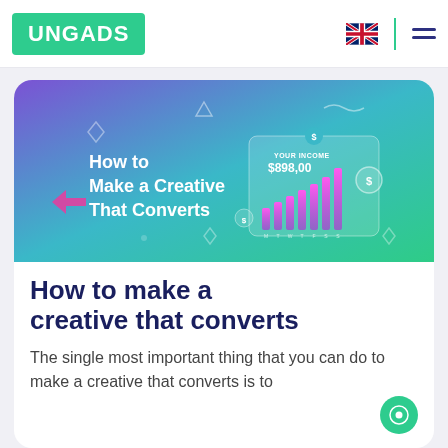UNGADS
[Figure (screenshot): Promotional banner with gradient background (purple to teal/green). Text reads 'How to Make a Creative That Converts'. A bar chart widget shows 'YOUR INCOME $898,00' with rising magenta bars. Decorative geometric shapes scattered throughout.]
How to make a creative that converts
The single most important thing that you can do to make a creative that converts is to